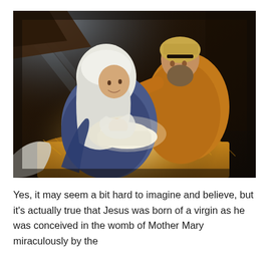[Figure (illustration): A classical painting-style illustration of the Nativity scene. Mary (woman in white head covering and blue robe) leans over the baby Jesus lying in a manger filled with hay. Joseph (man in brown robes and tan head wrap) stands behind Mary with his arm around her, also looking at the baby. The background is dark with beams of light from the upper left.]
Yes, it may seem a bit hard to imagine and believe, but it's actually true that Jesus was born of a virgin as he was conceived in the womb of Mother Mary miraculously by the